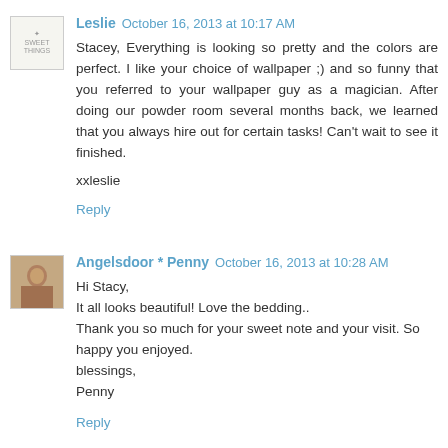Leslie  October 16, 2013 at 10:17 AM
Stacey, Everything is looking so pretty and the colors are perfect. I like your choice of wallpaper ;) and so funny that you referred to your wallpaper guy as a magician. After doing our powder room several months back, we learned that you always hire out for certain tasks! Can't wait to see it finished.

xxleslie

Reply
Angelsdoor * Penny  October 16, 2013 at 10:28 AM
Hi Stacy,
It all looks beautiful! Love the bedding..
Thank you so much for your sweet note and your visit. So happy you enjoyed.
blessings,
Penny

Reply